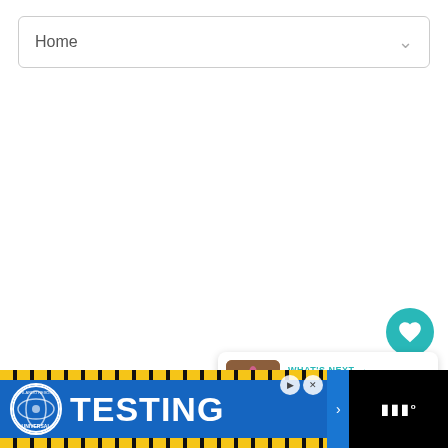[Figure (screenshot): Navigation dropdown bar showing 'Home' with a chevron/arrow icon on the right side]
[Figure (screenshot): Teal circular heart/favorite button with white heart icon]
1
[Figure (screenshot): White circular share button with share icon]
[Figure (screenshot): What's Next card showing 'Echinacea - Purple Cone...' with a flower thumbnail]
[Figure (screenshot): Advertisement banner for Universal Orlando Resort with 'TESTING' text in bold white letters on blue background with yellow/black diagonal stripes]